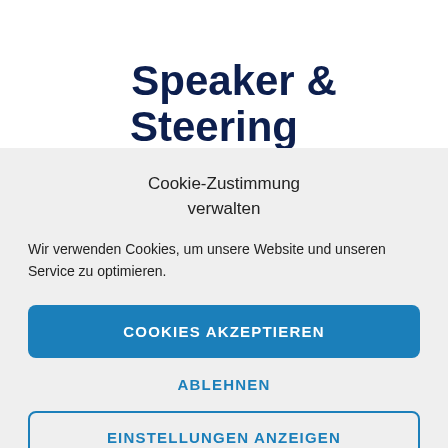Speaker & Steering committee
Cookie-Zustimmung verwalten
Wir verwenden Cookies, um unsere Website und unseren Service zu optimieren.
COOKIES AKZEPTIEREN
ABLEHNEN
EINSTELLUNGEN ANZEIGEN